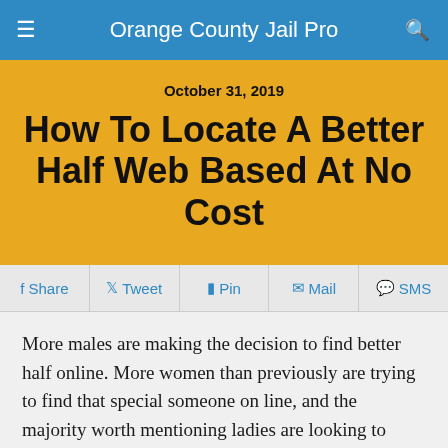Orange County Jail Pro
October 31, 2019
How To Locate A Better Half Web Based At No Cost
Share  Tweet  Pin  Mail  SMS
More males are making the decision to find better half online. More women than previously are trying to find that special someone on line, and the majority worth mentioning ladies are looking to connect with a men stranger online. This is a major switch inside the